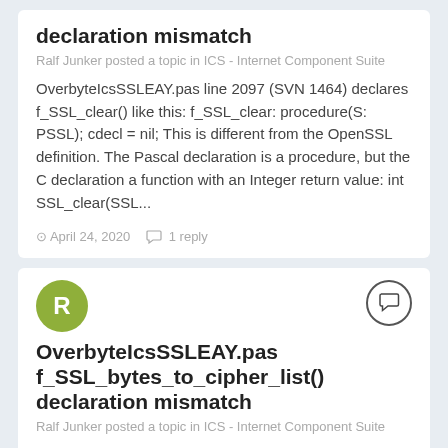declaration mismatch
Ralf Junker posted a topic in ICS - Internet Component Suite
OverbyteIcsSSLEAY.pas line 2097 (SVN 1464) declares f_SSL_clear() like this: f_SSL_clear: procedure(S: PSSL); cdecl = nil; This is different from the OpenSSL definition. The Pascal declaration is a procedure, but the C declaration a function with an Integer return value: int SSL_clear(SSL...
April 24, 2020   1 reply
OverbyteIcsSSLEAY.pas f_SSL_bytes_to_cipher_list() declaration mismatch
Ralf Junker posted a topic in ICS - Internet Component Suite
OverbyteIcsSSLEAY.pas line 2095 (SVN 1464) declares